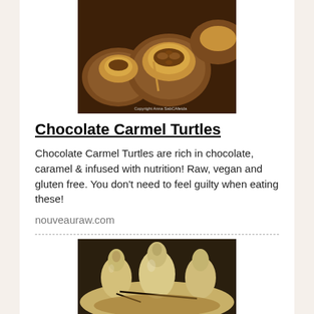[Figure (photo): Close-up photo of chocolate caramel turtle cookies with pecans on top, with copyright text 'Copyright Anna SabCAfetda']
Chocolate Carmel Turtles
Chocolate Carmel Turtles are rich in chocolate, caramel & infused with nutrition! Raw, vegan and gluten free. You don't need to feel guilty when eating these!
nouveauraw.com
[Figure (photo): Close-up photo of poached pears in a dish with vanilla bean]